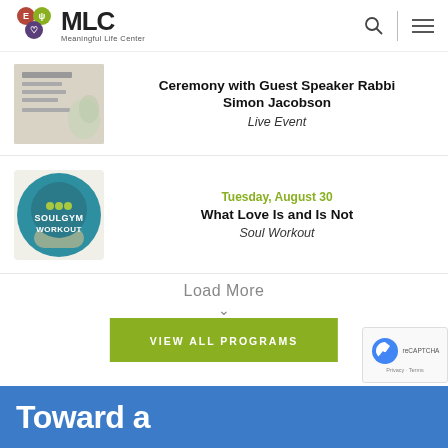MLC Meaningful Life Center
Ceremony with Guest Speaker Rabbi Simon Jacobson
Live Event
Tuesday, August 30
What Love Is and Is Not
Soul Workout
Load More
VIEW ALL PROGRAMS
Toward a